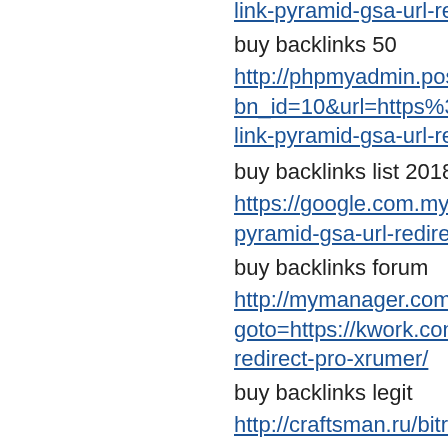link-pyramid-gsa-url-redirect-pro-xrumer (truncated, partial at top)
buy backlinks 50
http://phpmyadmin.postmaster.danielhanps.net/bbs/ban bn_id=10&url=https%3A%2F%2Fkwork.com%2Foffp link-pyramid-gsa-url-redirect-pro-xrumer
buy backlinks list 2018
https://google.com.my/url?q=https://kwork.com/offpag pyramid-gsa-url-redirect-pro-xrumer
buy backlinks forum
http://mymanager.com.ua/bitrix/redirect.php? goto=https://kwork.com%2Foffpageseo%2F22265814% redirect-pro-xrumer/
buy backlinks legit
http://craftsman.ru/bitrix/rk.php? goto=https://kwork.com%2Foffpageseo%2F22265814% redirect-pro-xrumer/
buy backlinks blackhatworld
http://www.google.com.pg/url? sa=t&url=https://kwork.com/offpageseo/22265814/pow